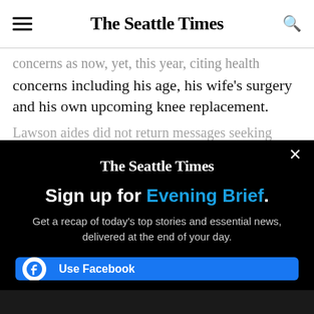The Seattle Times
...concerns including his age, his wife's surgery and his own upcoming knee replacement.
Lawson aides did not return messages seeking...
[Figure (screenshot): The Seattle Times newsletter sign-up modal overlay on dark background]
Sign up for Evening Brief.
Get a recap of today's top stories and essential news, delivered at the end of your day.
Use Facebook
Use Google